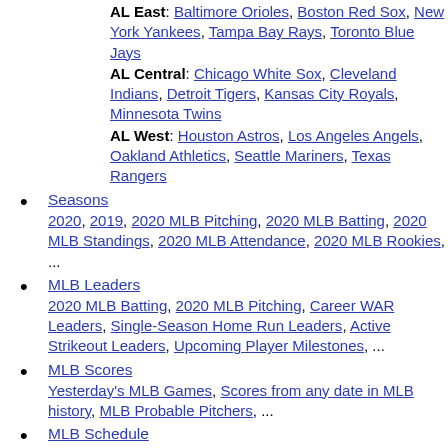AL East: Baltimore Orioles, Boston Red Sox, New York Yankees, Tampa Bay Rays, Toronto Blue Jays
AL Central: Chicago White Sox, Cleveland Indians, Detroit Tigers, Kansas City Royals, Minnesota Twins
AL West: Houston Astros, Los Angeles Angels, Oakland Athletics, Seattle Mariners, Texas Rangers
Seasons
2020, 2019, 2020 MLB Pitching, 2020 MLB Batting, 2020 MLB Standings, 2020 MLB Attendance, 2020 MLB Rookies, ...
MLB Leaders
2020 MLB Batting, 2020 MLB Pitching, Career WAR Leaders, Single-Season Home Run Leaders, Active Strikeout Leaders, Upcoming Player Milestones, ...
MLB Scores
Yesterday's MLB Games, Scores from any date in MLB history, MLB Probable Pitchers, ...
MLB Schedule
MLB Standings
AL Standings, NL Standings, Standings for any date in history, ...
MLB Playoffs
World Series Winners, 2019 World Series: Astros vs Nationals, 2018 World Series: Red Sox vs Dodgers, 2017 World Series: Astros vs Dodgers, World Series Batting